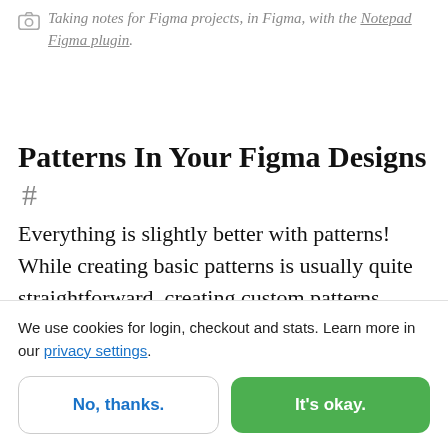Taking notes for Figma projects, in Figma, with the Notepad Figma plugin.
Patterns In Your Figma Designs #
Everything is slightly better with patterns! While creating basic patterns is usually quite straightforward, creating custom patterns might be a tricky and intense process, and that's where Figma's
We use cookies for login, checkout and stats. Learn more in our privacy settings.